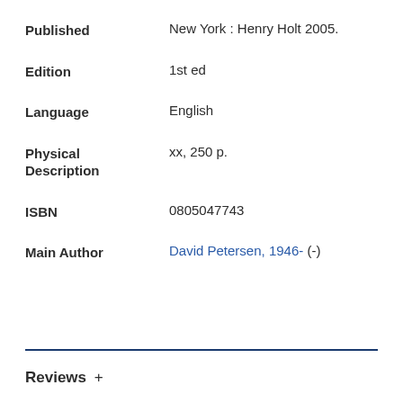Published: New York : Henry Holt 2005.
Edition: 1st ed
Language: English
Physical Description: xx, 250 p.
ISBN: 0805047743
Main Author: David Petersen, 1946- (-)
Reviews +